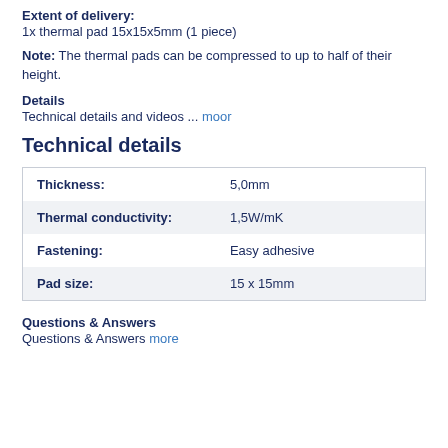Extent of delivery: 1x thermal pad 15x15x5mm (1 piece)
Note: The thermal pads can be compressed to up to half of their height.
Details
Technical details and videos ... moor
Technical details
| Property | Value |
| --- | --- |
| Thickness: | 5,0mm |
| Thermal conductivity: | 1,5W/mK |
| Fastening: | Easy adhesive |
| Pad size: | 15 x 15mm |
Questions & Answers
Questions & Answers more